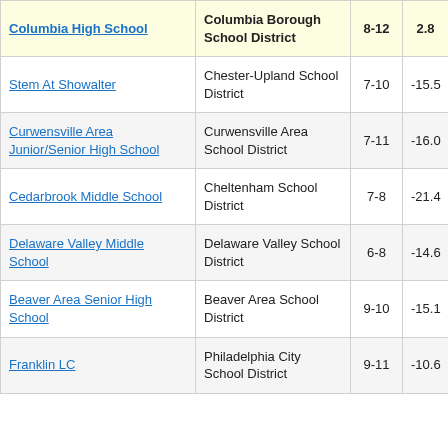| School | District | Grades | Score |
| --- | --- | --- | --- |
| Columbia High School | Columbia Borough School District | 8-12 | 2.8 |
| Stem At Showalter | Chester-Upland School District | 7-10 | -15.5 |
| Curwensville Area Junior/Senior High School | Curwensville Area School District | 7-11 | -16.0 |
| Cedarbrook Middle School | Cheltenham School District | 7-8 | -21.4 |
| Delaware Valley Middle School | Delaware Valley School District | 6-8 | -14.6 |
| Beaver Area Senior High School | Beaver Area School District | 9-10 | -15.1 |
| Franklin LC | Philadelphia City School District | 9-11 | -10.6 |